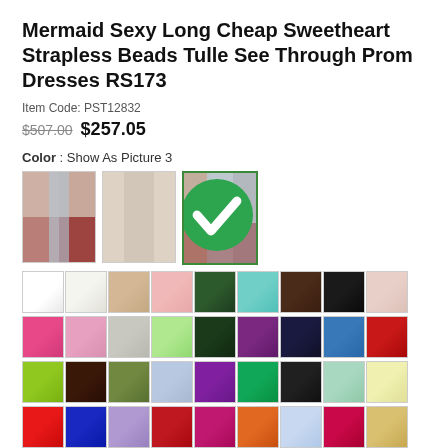Mermaid Sexy Long Cheap Sweetheart Strapless Beads Tulle See Through Prom Dresses RS173
Item Code: PST12832
$507.00  $257.05
Color : Show As Picture 3
[Figure (photo): Three thumbnail photos of prom dresses; third is selected with green border and checkmark]
[Figure (photo): Grid of color swatches showing fabric color options for the dress]
Size | Size Guide